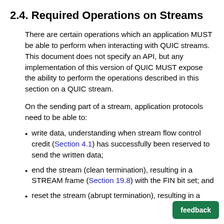2.4. Required Operations on Streams
There are certain operations which an application MUST be able to perform when interacting with QUIC streams. This document does not specify an API, but any implementation of this version of QUIC MUST expose the ability to perform the operations described in this section on a QUIC stream.
On the sending part of a stream, application protocols need to be able to:
write data, understanding when stream flow control credit (Section 4.1) has successfully been reserved to send the written data;
end the stream (clean termination), resulting in a STREAM frame (Section 19.8) with the FIN bit set; and
reset the stream (abrupt termination), resulting in a